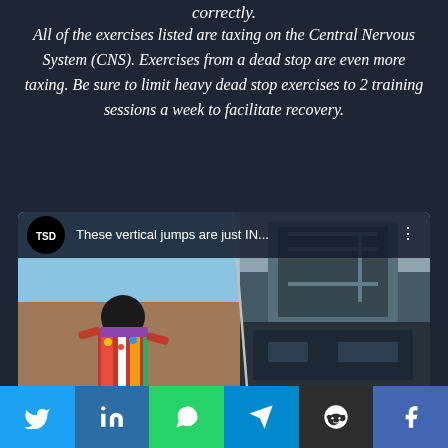correctly.
All of the exercises listed are taxing on the Central Nervous System (CNS). Exercises from a dead stop are even more taxing. Be sure to limit heavy dead stop exercises to 2 training sessions a week to facilitate recovery.
[Figure (screenshot): A social media video card from TSD showing 'These vertical jumps are just IN...' with a split image: left side shows a person in traditional colorful clothing against a blue sky, right side shows what appears to be a dark vehicle or gym equipment.]
[Figure (infographic): Social sharing bar with Twitter, LinkedIn, WhatsApp, Telegram, Reddit, and Facebook buttons]